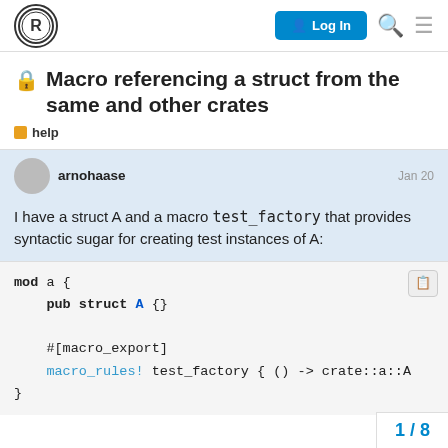Rust Forum – Log In
🔒 Macro referencing a struct from the same and other crates
help
arnohaase  Jan 20
I have a struct A and a macro test_factory that provides syntactic sugar for creating test instances of A:
mod a {
    pub struct A {}

    #[macro_export]
    macro_rules! test_factory { () -> crate::a::A
}